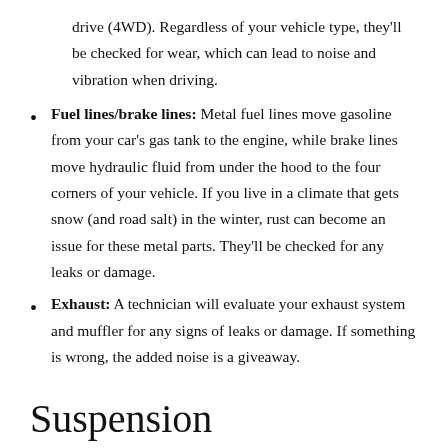drive (4WD). Regardless of your vehicle type, they’ll be checked for wear, which can lead to noise and vibration when driving.
Fuel lines/brake lines: Metal fuel lines move gasoline from your car’s gas tank to the engine, while brake lines move hydraulic fluid from under the hood to the four corners of your vehicle. If you live in a climate that gets snow (and road salt) in the winter, rust can become an issue for these metal parts. They’ll be checked for any leaks or damage.
Exhaust: A technician will evaluate your exhaust system and muffler for any signs of leaks or damage. If something is wrong, the added noise is a giveaway.
Suspension